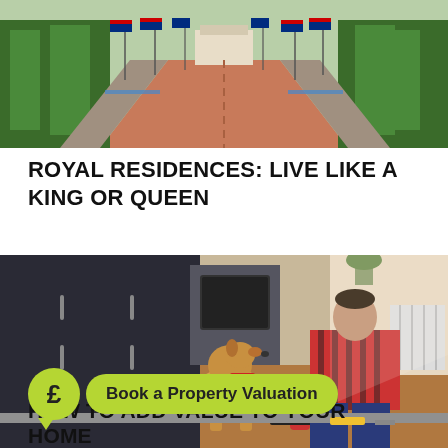[Figure (photo): The Mall in London decorated with Union Jack flags lining a wide red road leading to Buckingham Palace, with trees on both sides]
ROYAL RESIDENCES: LIVE LIKE A KING OR QUEEN
[Figure (photo): Man in red striped shirt kneeling on kitchen floor using a drill, with a golden labrador dog sitting beside him watching. Dark kitchen cabinets in background. Green PROPERTY tag overlay at top left. Green pound-sign speech bubble and 'Book a Property Valuation' button overlay at bottom left.]
HOW TO ADD VALUE TO YOUR HOME